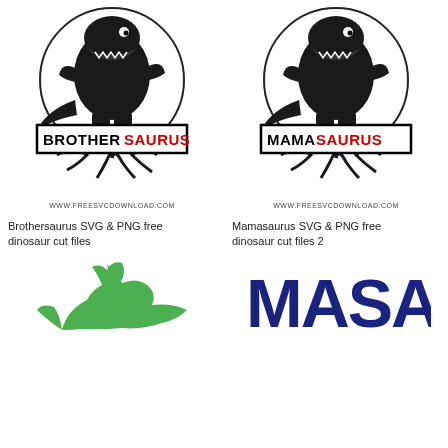[Figure (illustration): Brothersaurus SVG logo: black and white T-Rex dinosaur illustration with text 'BROTHERSAURUS' in bold black and red letters inside a rectangular banner, with tree roots below. URL: www.freesvcdownload.com]
[Figure (illustration): Mamasaurus SVG logo: black and white T-Rex dinosaur illustration with text 'MAMASAURUS' in bold black and red letters inside a rectangular banner, with tree roots below. URL: www.freesvcdownload.com]
Brothersaurus SVG & PNG free dinosaur cut files
Mamasaurus SVG & PNG free dinosaur cut files 2
[Figure (illustration): Partial view of a green dinosaur silhouette / cut file illustration at bottom left]
[Figure (illustration): Partial view of dark blue/navy text logo at bottom right, beginning with letters MASA or similar]